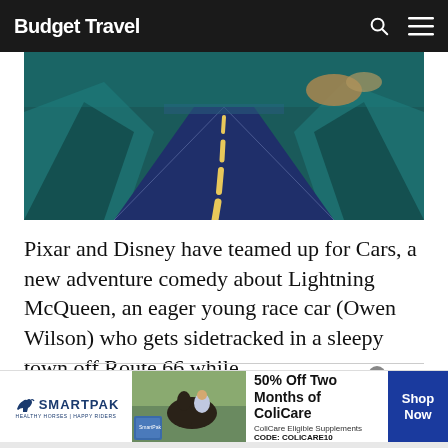Budget Travel
[Figure (illustration): Stylized illustration of a road stretching into the distance with teal/dark mountains on either side, yellow dashed center line, dark blue asphalt, warm orange accents in the sky.]
Pixar and Disney have teamed up for Cars, a new adventure comedy about Lightning McQueen, an eager young race car (Owen Wilson) who gets sidetracked in a sleepy town off Route 66 while…
[Figure (infographic): SmartPak advertisement banner: 50% Off Two Months of ColiCare. ColiCare Eligible Supplements. CODE: COLICARE10. Shop Now button. SmartPak logo with horse icon on left, photo of woman with horse in center.]